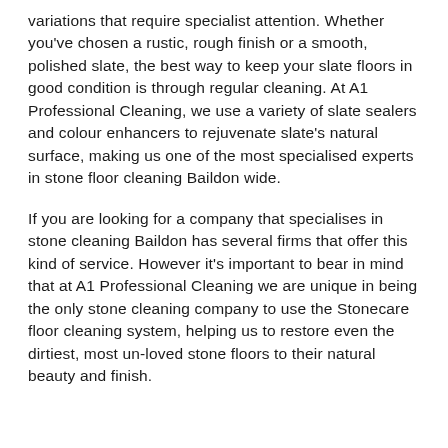variations that require specialist attention. Whether you've chosen a rustic, rough finish or a smooth, polished slate, the best way to keep your slate floors in good condition is through regular cleaning. At A1 Professional Cleaning, we use a variety of slate sealers and colour enhancers to rejuvenate slate's natural surface, making us one of the most specialised experts in stone floor cleaning Baildon wide.
If you are looking for a company that specialises in stone cleaning Baildon has several firms that offer this kind of service. However it's important to bear in mind that at A1 Professional Cleaning we are unique in being the only stone cleaning company to use the Stonecare floor cleaning system, helping us to restore even the dirtiest, most un-loved stone floors to their natural beauty and finish.